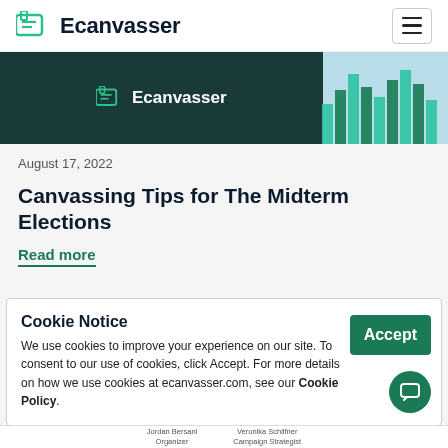[Figure (logo): Ecanvasser logo with icon and wordmark in navigation bar]
[Figure (screenshot): Ecanvasser hero banner image with dark background showing logo and colored bar chart]
August 17, 2022
Canvassing Tips for The Midterm Elections
Read more
Cookie Notice
We use cookies to improve your experience on our site. To consent to our use of cookies, click Accept. For more details on how we use cookies at ecanvasser.com, see our Cookie Policy.
Jordan Bersani Organizer   Veronika Schilfner Campaign Strategist